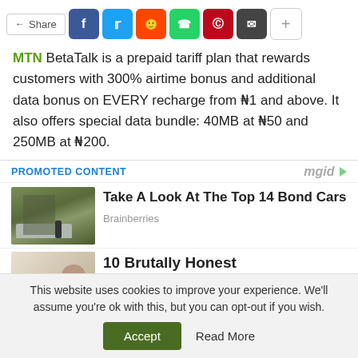[Figure (screenshot): Social share bar with Share button and colored social media icons: Facebook (blue), Twitter (light blue), Reddit (orange), WhatsApp (green), Pinterest (dark red), Email (dark gray), and a plus button]
MTN BetaTalk is a prepaid tariff plan that rewards customers with 300% airtime bonus and additional data bonus on EVERY recharge from ₦1 and above. It also offers special data bundle: 40MB at ₦50 and 250MB at ₦200.
PROMOTED CONTENT
[Figure (photo): Man in suit standing next to a silver BMW sports car with industrial background]
Take A Look At The Top 14 Bond Cars
Brainberries
[Figure (photo): Dog or small animal on light background]
10 Brutally Honest
This website uses cookies to improve your experience. We'll assume you're ok with this, but you can opt-out if you wish.